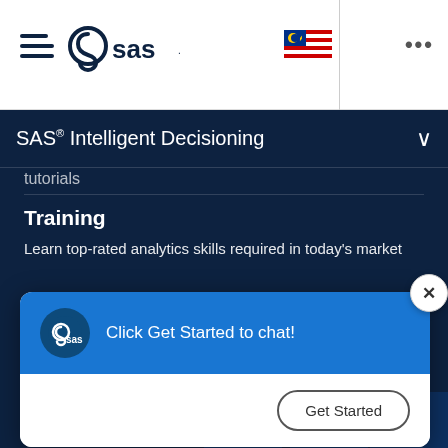[Figure (screenshot): SAS website navigation bar with hamburger menu icon, SAS logo, Malaysian flag, and three-dots menu]
SAS® Intelligent Decisioning
tutorials
Training
Learn top-rated analytics skills required in today's market
[Figure (screenshot): SAS chat popup widget with blue header showing SAS logo and 'Click Get Started to chat!' message, with a 'Get Started' button below, and an X close button in the top right]
[Figure (logo): SAS logo in white at the bottom of the page]